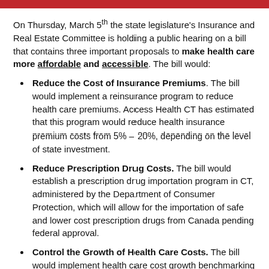On Thursday, March 5th the state legislature's Insurance and Real Estate Committee is holding a public hearing on a bill that contains three important proposals to make health care more affordable and accessible. The bill would:
Reduce the Cost of Insurance Premiums. The bill would implement a reinsurance program to reduce health care premiums. Access Health CT has estimated that this program would reduce health insurance premium costs from 5% – 20%, depending on the level of state investment.
Reduce Prescription Drug Costs. The bill would establish a prescription drug importation program in CT, administered by the Department of Consumer Protection, which will allow for the importation of safe and lower cost prescription drugs from Canada pending federal approval.
Control the Growth of Health Care Costs. The bill would implement health care cost growth benchmarking like the program that has successfully kept health care expenses from growing out of control in Massachusetts. Under Governor Charlie Baker's cost containment